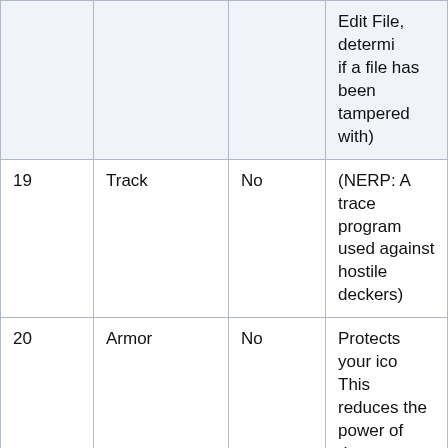| # | Name | Yes/No | Description |
| --- | --- | --- | --- |
|  |  |  | Edit File, determine if a file has been tampered with) |
| 19 | Track | No | (NERP: A trace program used against hostile deckers) |
| 20 | Armor | No | Protects your icon. This reduces the power of damage against a decker's icon by the rating program. It does NOT protect your meat against killer IC. |
| 21 | Camo | No | Gives you time before the Trace locate your meat |